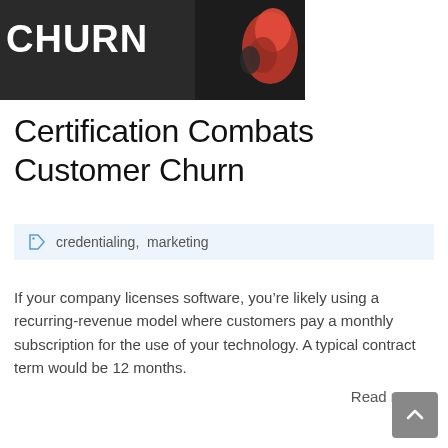[Figure (photo): Dark background hero image with large white bold text reading 'CHURN' and a person wearing red boxing gloves on the right side]
Certification Combats Customer Churn
credentialing,  marketing
If your company licenses software, you’re likely using a recurring-revenue model where customers pay a monthly subscription for the use of your technology. A typical contract term would be 12 months.
Read more ›